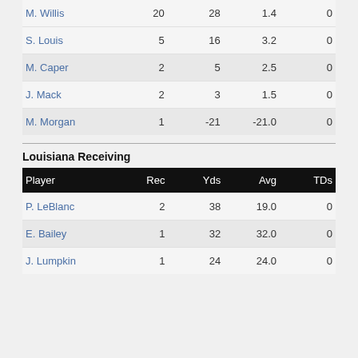| Player | Att | Yds | Avg | TDs |
| --- | --- | --- | --- | --- |
| M. Willis | 20 | 28 | 1.4 | 0 |
| S. Louis | 5 | 16 | 3.2 | 0 |
| M. Caper | 2 | 5 | 2.5 | 0 |
| J. Mack | 2 | 3 | 1.5 | 0 |
| M. Morgan | 1 | -21 | -21.0 | 0 |
Louisiana Receiving
| Player | Rec | Yds | Avg | TDs |
| --- | --- | --- | --- | --- |
| P. LeBlanc | 2 | 38 | 19.0 | 0 |
| E. Bailey | 1 | 32 | 32.0 | 0 |
| J. Lumpkin | 1 | 24 | 24.0 | 0 |